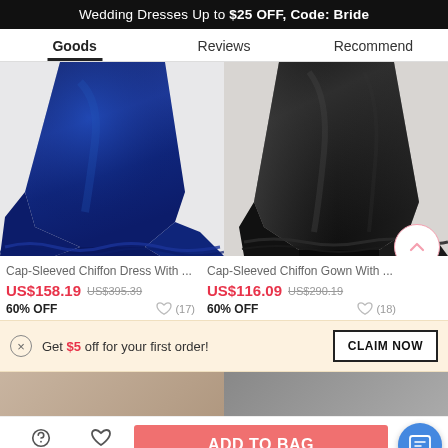Wedding Dresses Up to $25 OFF, Code: Bride
Goods | Reviews | Recommend
[Figure (photo): Navy blue cap-sleeved chiffon dress with long train shown from below waist]
[Figure (photo): Black cap-sleeved chiffon gown shown from below waist]
Cap-Sleeved Chiffon Dress With ...
US$158.19   US$395.39
60% OFF   (17)
Cap-Sleeved Chiffon Gown With ...
US$116.09   US$290.19
60% OFF   (18)
Get $5 off for your first order!
CLAIM NOW
Live Chat  Like  ADD TO BAG